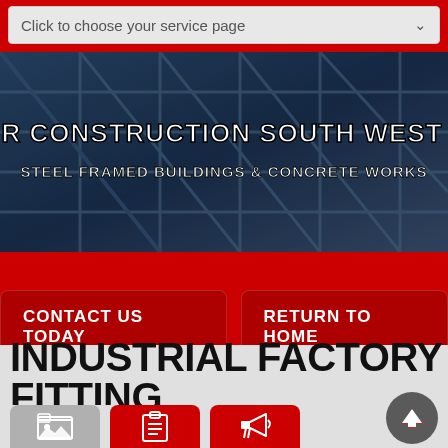Click to choose your service page
C & R CONSTRUCTION SOUTH WEST LTD
STEEL FRAMED BUILDINGS & CONCRETE WORKS
[Figure (screenshot): Red background section with two navigation buttons: CONTACT US TODAY and RETURN TO HOME]
INDUSTRIAL FACTORY FITTING
[Figure (infographic): Three icon buttons at the bottom: a gallery icon (gray), a list/clipboard icon (red), and a megaphone icon (red). A dark circular up-arrow button in the bottom right corner.]